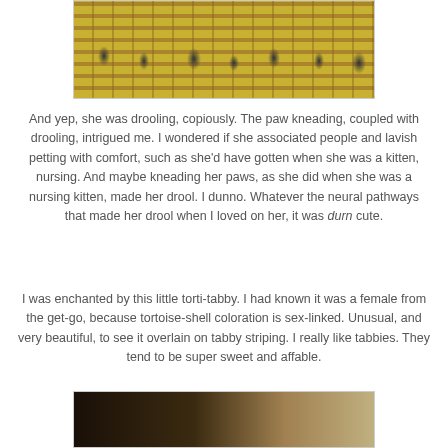[Figure (photo): Partial photo of what appears to be a yellow surface with dark leaf-shaped patterns and rusty/brown horizontal bars, likely part of a cat's environment or a bench/surface.]
And yep, she was drooling, copiously. The paw kneading, coupled with drooling, intrigued me. I wondered if she associated people and lavish petting with comfort, such as she'd have gotten when she was a kitten, nursing. And maybe kneading her paws, as she did when she was a nursing kitten, made her drool. I dunno. Whatever the neural pathways that made her drool when I loved on her, it was durn cute.
I was enchanted by this little torti-tabby. I had known it was a female from the get-go, because tortoise-shell coloration is sex-linked. Unusual, and very beautiful, to see it overlain on tabby striping. I really like tabbies. They tend to be super sweet and affable.
[Figure (photo): Bottom portion of a photo showing a dark scene, partially cut off at the bottom of the page.]